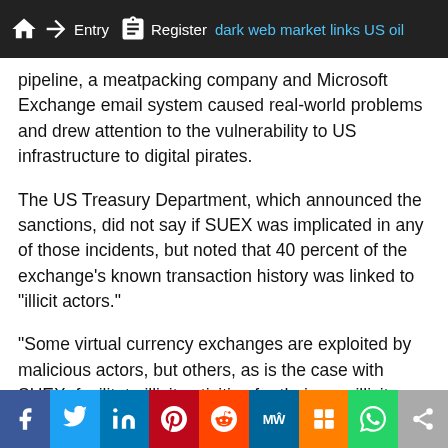Entry | Register | dark web market links US oil
pipeline, a meatpacking company and Microsoft Exchange email system caused real-world problems and drew attention to the vulnerability to US infrastructure to digital pirates.
The US Treasury Department, which announced the sanctions, did not say if SUEX was implicated in any of those incidents, but noted that 40 percent of the exchange's known transaction history was linked to "illicit actors."
“Some virtual currency exchanges are exploited by malicious actors, but others, as is the case with SUEX, facilitate illicit activities for their own illicit gains,” a Treasury statement said, adding they are the first
f | Twitter | in | Pinterest | Reddit | MétaWiki | Mix | WhatsApp | Share